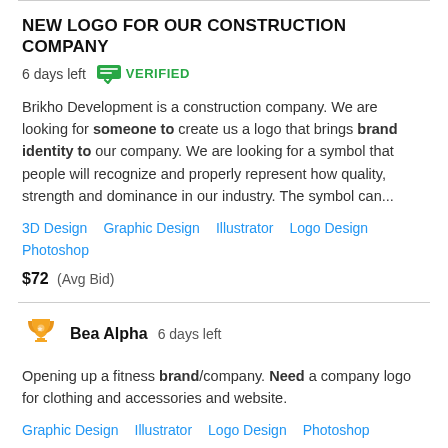NEW LOGO FOR OUR CONSTRUCTION COMPANY
6 days left  VERIFIED
Brikho Development is a construction company. We are looking for someone to create us a logo that brings brand identity to our company. We are looking for a symbol that people will recognize and properly represent how quality, strength and dominance in our industry. The symbol can...
3D Design   Graphic Design   Illustrator   Logo Design   Photoshop
$72  (Avg Bid)
Bea Alpha  6 days left
Opening up a fitness brand/company. Need a company logo for clothing and accessories and website.
Graphic Design   Illustrator   Logo Design   Photoshop